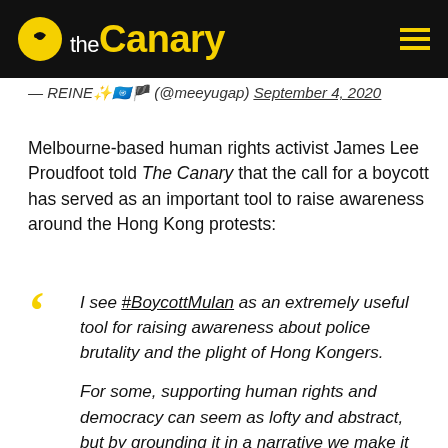the Canary
— REINE✨🇺🇳🏴 (@meeyugap) September 4, 2020
Melbourne-based human rights activist James Lee Proudfoot told The Canary that the call for a boycott has served as an important tool to raise awareness around the Hong Kong protests:
I see #BoycottMulan as an extremely useful tool for raising awareness about police brutality and the plight of Hong Kongers.

For some, supporting human rights and democracy can seem as lofty and abstract, but by grounding it in a narrative we make it visceral and concrete.

Given Liu Yifei's status as a celebrity we are also able to generate significant interest and reach audiences